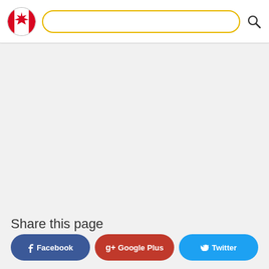[Figure (logo): Canada government logo — circular flag icon with maple leaf on white/red background]
[Figure (other): Yellow-outlined search input bar]
[Figure (other): Search magnifying glass icon]
Share this page
Facebook
Google Plus
Twitter